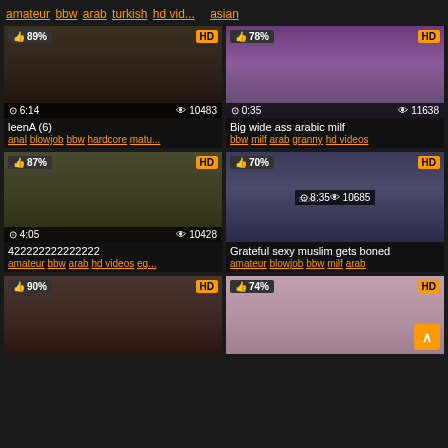amateur bbw arab turkish hd vid... asian
[Figure (screenshot): Video thumbnail grid with 6 video cards showing thumbnails, like percentages, HD badges, duration and view counts]
leenA (6)
anal blowjob bbw hardcore matu...
Big wide ass arabic milf
bbw milf arab granny hd videos
422222222222222
amateur bbw arab hd videos eg...
Grateful sexy muslim gets boned
amateur blowjob bbw milf arab